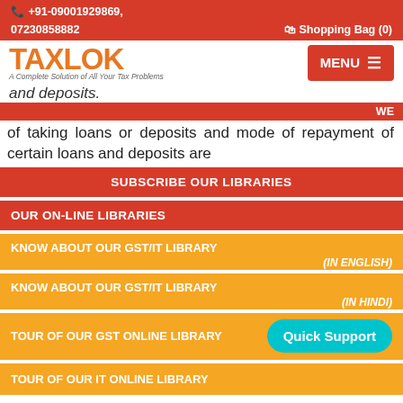+91-09001929869, 07230858882   Shopping Bag (0)
[Figure (logo): TAXLOK logo with tagline 'A Complete Solution of All Your Tax Problems' and red MENU button]
and deposits.
WE
of taking loans or deposits and mode of repayment of certain loans and deposits are
SUBSCRIBE OUR LIBRARIES
OUR ON-LINE LIBRARIES
KNOW ABOUT OUR GST/IT LIBRARY (IN ENGLISH)
KNOW ABOUT OUR GST/IT LIBRARY (IN HINDI)
TOUR OF OUR GST ONLINE LIBRARY
TOUR OF OUR IT ONLINE LIBRARY